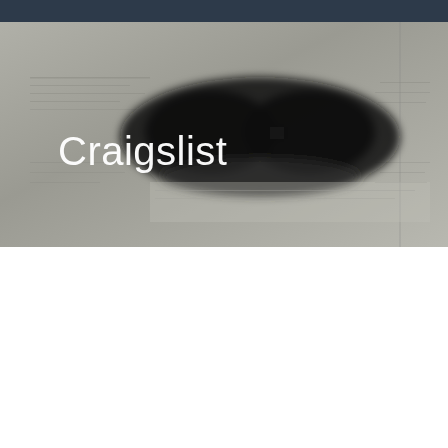[Figure (photo): Craigslist banner image showing a grayscale newspaper/classified ads background with a blurry dark shape (sunglasses or object) in the center-right area. The word 'Craigslist' appears in large white text on the left side of the banner.]